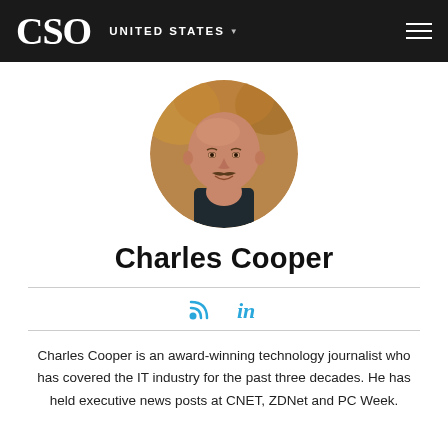CSO UNITED STATES
[Figure (photo): Circular profile photo of Charles Cooper, a bald man with a mustache wearing a dark shirt, photographed outdoors with blurred warm-toned background.]
Charles Cooper
[Figure (other): RSS feed icon and LinkedIn icon in blue]
Charles Cooper is an award-winning technology journalist who has covered the IT industry for the past three decades. He has held executive news posts at CNET, ZDNet and PC Week.